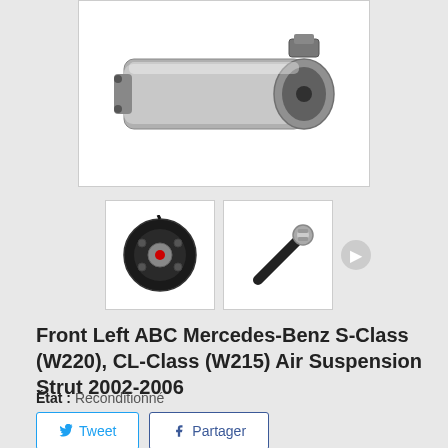[Figure (photo): Main product image of Front Left ABC Mercedes-Benz Air Suspension Strut, showing a silver/black motor component on white background]
[Figure (photo): Thumbnail 1: bottom view of black circular motor mount with screws and red center]
[Figure (photo): Thumbnail 2: side view of black air hose/connector fitting]
Front Left ABC Mercedes-Benz S-Class (W220), CL-Class (W215) Air Suspension Strut 2002-2006
État : Reconditionné
Tweet
Partager